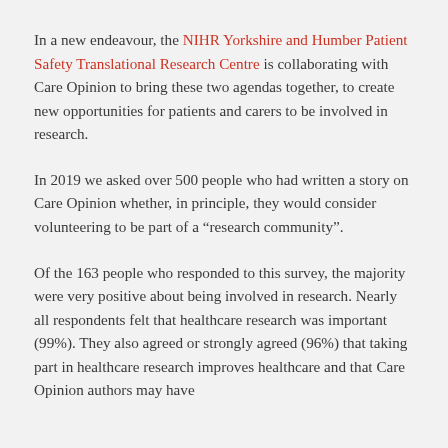In a new endeavour, the NIHR Yorkshire and Humber Patient Safety Translational Research Centre is collaborating with Care Opinion to bring these two agendas together, to create new opportunities for patients and carers to be involved in research.
In 2019 we asked over 500 people who had written a story on Care Opinion whether, in principle, they would consider volunteering to be part of a “research community”.
Of the 163 people who responded to this survey, the majority were very positive about being involved in research. Nearly all respondents felt that healthcare research was important (99%). They also agreed or strongly agreed (96%) that taking part in healthcare research improves healthcare and that Care Opinion authors may have